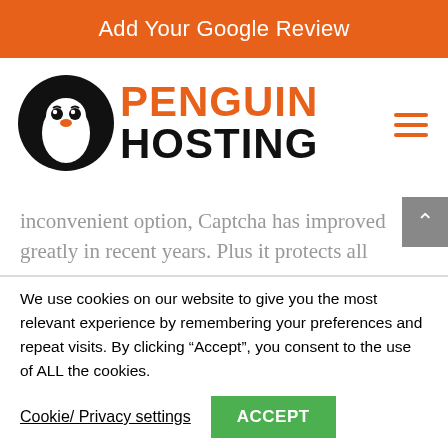Add Your Google Review
[Figure (logo): Penguin Hosting logo: penguin icon in black circle with orange PENGUIN and black HOSTING text]
inconvenient option, Captcha has improved greatly in recent years. Plus it protects all
We use cookies on our website to give you the most relevant experience by remembering your preferences and repeat visits. By clicking “Accept”, you consent to the use of ALL the cookies.
Cookie/ Privacy settings
ACCEPT
Read our Cookie and Privacy Policy